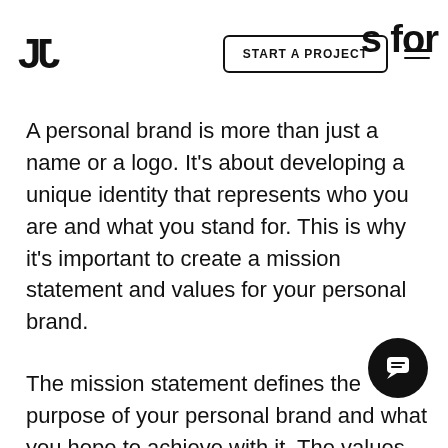START A PROJECT
A personal brand is more than just a name or a logo. It's about developing a unique identity that represents who you are and what you stand for. This is why it's important to create a mission statement and values for your personal brand.
The mission statement defines the purpose of your personal brand and what you hope to achieve with it. The values represent the core beliefs that guide your actions and decisions.
Here are some examples of